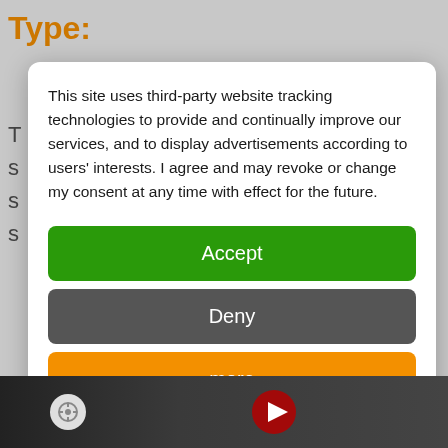Type:
This site uses third-party website tracking technologies to provide and continually improve our services, and to display advertisements according to users' interests. I agree and may revoke or change my consent at any time with effect for the future.
Accept
Deny
more
Powered by usercentrics
[Figure (screenshot): Bottom strip showing a dark video thumbnail with a red play button icon and a white settings/cookie icon circle on the lower left]